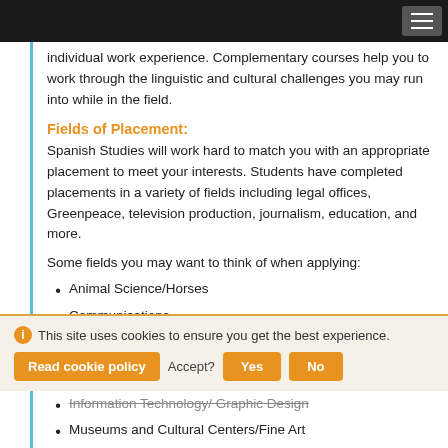individual work experience. Complementary courses help you to work through the linguistic and cultural challenges you may run into while in the field.
Fields of Placement:
Spanish Studies will work hard to match you with an appropriate placement to meet your interests. Students have completed placements in a variety of fields including legal offices, Greenpeace, television production, journalism, education, and more.
Some fields you may want to think of when applying:
Animal Science/Horses
Communications
Community Service
This site uses cookies to ensure you get the best experience.
Information Technology/ Graphic Design
Museums and Cultural Centers/Fine Art